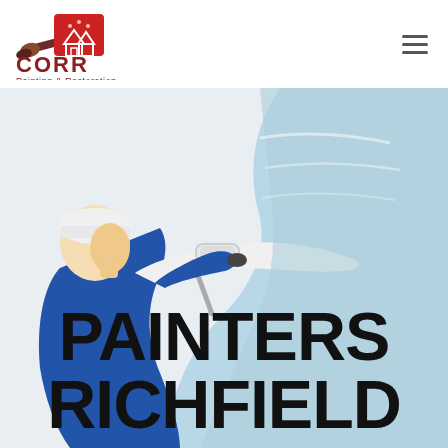[Figure (logo): CORR Painting & Restoration logo with paintbrush and house icons in dark red/maroon color]
[Figure (photo): Painter in blue uniform using a paint roller to paint a wall light blue, photographed from behind/side]
PAINTERS RICHFIELD